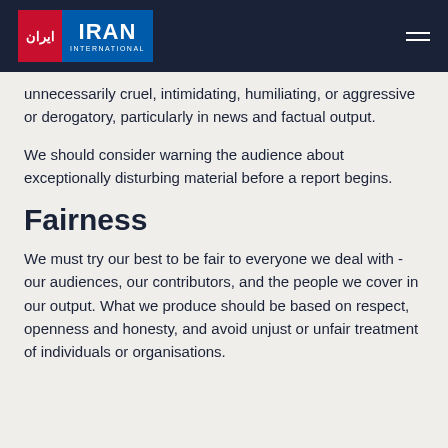Iran International
unnecessarily cruel, intimidating, humiliating, or aggressive or derogatory, particularly in news and factual output.
We should consider warning the audience about exceptionally disturbing material before a report begins.
Fairness
We must try our best to be fair to everyone we deal with - our audiences, our contributors, and the people we cover in our output. What we produce should be based on respect, openness and honesty, and avoid unjust or unfair treatment of individuals or organisations.